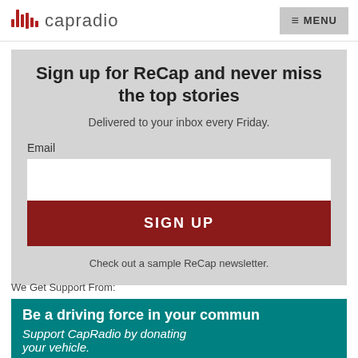capradio  MENU
Sign up for ReCap and never miss the top stories
Delivered to your inbox every Friday.
Email
SIGN UP
Check out a sample ReCap newsletter.
We Get Support From:
Be a driving force in your commun
Support CapRadio by donating your vehicle.